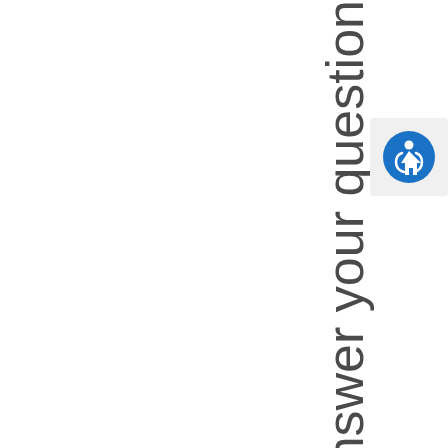answer your question
[Figure (other): Accessibility icon button — blue circle with white human figure (wheelchair accessible person icon)]